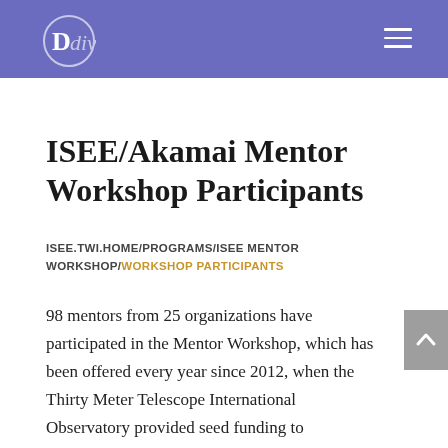Divi
ISEE/Akamai Mentor Workshop Participants
ISEE.TWI.HOME/PROGRAMS/ISEE MENTOR WORKSHOP/WORKSHOP PARTICIPANTS
98 mentors from 25 organizations have participated in the Mentor Workshop, which has been offered every year since 2012, when the Thirty Meter Telescope International Observatory provided seed funding to